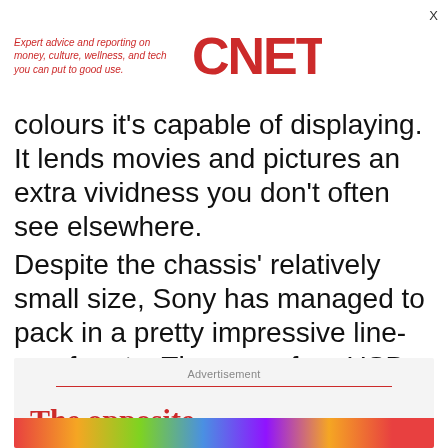Expert advice and reporting on money, culture, wellness, and tech you can put to good use. CNET
colours it's capable of displaying. It lends movies and pictures an extra vividness you don't often see elsewhere.
Despite the chassis' relatively small size, Sony has managed to pack in a pretty impressive line-up of ports. There are four USB ports, for example, one of which also doubles up as a high-speed eSata port.
Advertisement
The opposite of doomscrolling